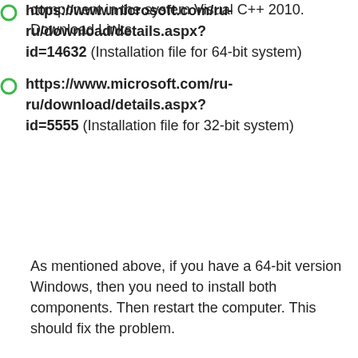component in the system Visual C++ 2010. Download Links:
https://www.microsoft.com/ru-ru/download/details.aspx?id=14632 (Installation file for 64-bit system)
https://www.microsoft.com/ru-ru/download/details.aspx?id=5555 (Installation file for 32-bit system)
As mentioned above, if you have a 64-bit version Windows, then you need to install both components. Then restart the computer. This should fix the problem.